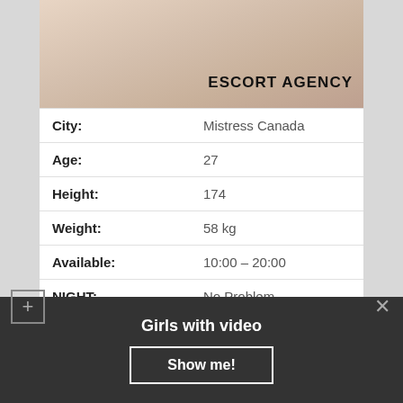[Figure (photo): Top banner image showing a light-colored background with text 'ESCORT AGENCY' in bold black uppercase letters at bottom right]
| City: | Mistress Canada |
| Age: | 27 |
| Height: | 174 |
| Weight: | 58 kg |
| Available: | 10:00 – 20:00 |
| NIGHT: | No Problem |
| Escort Preferences: | Sauna / Bath Houses, Soft domination□, Massage prostate |
| Outcall: | Yes |
Girls with video
Show me!